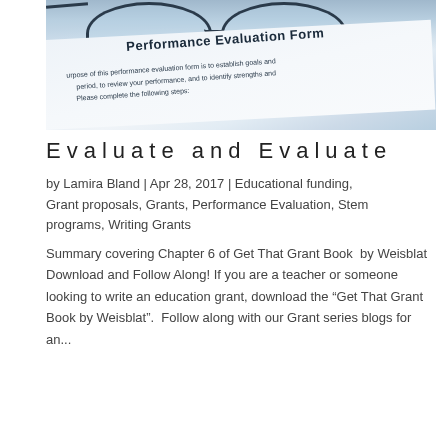[Figure (photo): Photo of eyeglasses resting on a Performance Evaluation Form document, with text visible including bold title 'Performance Evaluation Form' and partial body text about the purpose of the form.]
Evaluate and Evaluate
by Lamira Bland | Apr 28, 2017 | Educational funding, Grant proposals, Grants, Performance Evaluation, Stem programs, Writing Grants
Summary covering Chapter 6 of Get That Grant Book  by Weisblat Download and Follow Along! If you are a teacher or someone looking to write an education grant, download the “Get That Grant Book by Weisblat”.  Follow along with our Grant series blogs for an...